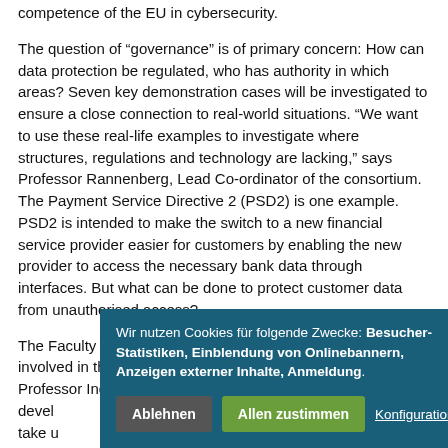competence of the EU in cybersecurity.
The question of “governance” is of primary concern: How can data protection be regulated, who has authority in which areas? Seven key demonstration cases will be investigated to ensure a close connection to real-world situations. “We want to use these real-life examples to investigate where structures, regulations and technology are lacking,” says Professor Rannenberg, Lead Co-ordinator of the consortium. The Payment Service Directive 2 (PSD2) is one example. PSD2 is intended to make the switch to a new financial service provider easier for customers by enabling the new provider to access the necessary bank data through interfaces. But what can be done to protect customer data from unauthorised access?
The Faculty of Law at Goethe University Frankfurt is also involved in the project in the person of data protection expert Professor Indra [... devel [...] take u [...] Data [...] mana [...] Spied [...]
Wir nutzen Cookies für folgende Zwecke: Besucher-Statistiken, Einblendung von Onlinebannern, Anzeigen externer Inhalte, Anmeldung.
Ablehnen | Allen zustimmen | Konfiguration ansehen...